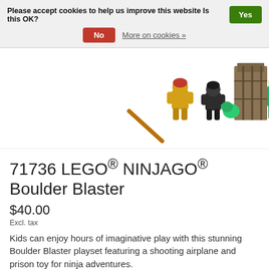Please accept cookies to help us improve this website Is this OK? Yes No More on cookies »
[Figure (photo): LEGO NINJAGO Boulder Blaster product image showing several ninja minifigures and part of a building structure]
71736 LEGO® NINJAGO® Boulder Blaster
$40.00
Excl. tax
Kids can enjoy hours of imaginative play with this stunning Boulder Blaster playset featuring a shooting airplane and prison toy for ninja adventures.
☆☆☆☆☆ (0)
✓ In stock (4)